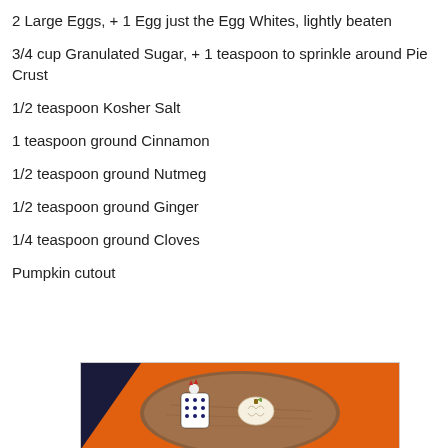2 Large Eggs, + 1 Egg just the Egg Whites, lightly beaten
3/4 cup Granulated Sugar, + 1 teaspoon to sprinkle around Pie Crust
1/2 teaspoon Kosher Salt
1 teaspoon ground Cinnamon
1/2 teaspoon ground Nutmeg
1/2 teaspoon ground Ginger
1/4 teaspoon ground Cloves
Pumpkin cutout
[Figure (photo): A photo of a decorative chicken plate with a pumpkin-shaped pie crust cutout on a wooden board, with orange fabric in the background.]